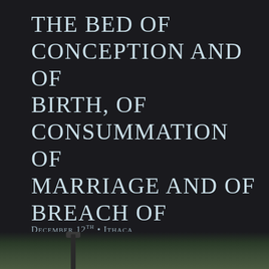The bed of conception and of birth, of consummation of marriage and of breach of marriage, of sleep and of death.
December 12th · Ithaca
[Figure (photo): Dark photographic strip at the bottom of the page showing an outdoor scene with a lamp post and grass, rendered in dark tones.]